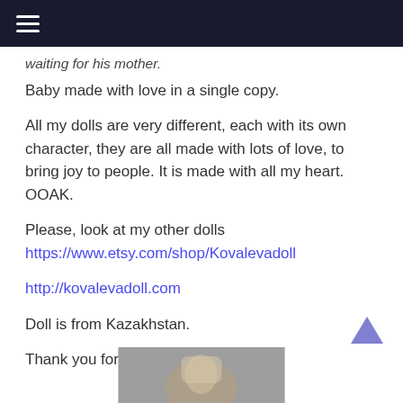☰
waiting for his mother.
Baby made with love in a single copy.
All my dolls are very different, each with its own character, they are all made with lots of love, to bring joy to people. It is made with all my heart. OOAK.
Please, look at my other dolls https://www.etsy.com/shop/Kovalevadoll
http://kovalevadoll.com
Doll is from Kazakhstan.
Thank you for looking.
[Figure (photo): Partial photo of a doll, visible at the bottom of the page]